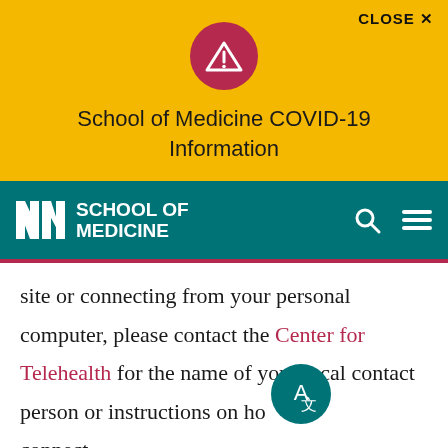[Figure (infographic): Yellow alert banner with red warning circle containing a white triangle exclamation icon, and CLOSE X button in top right]
School of Medicine COVID-19 Information
[Figure (logo): UNM School of Medicine teal navigation bar with NM logo, SCHOOL OF MEDICINE text, search icon, and hamburger menu icon]
site or connecting from your personal computer, please contact the Center for Telehealth for the name of your local contact person or instructions on ho connect.
[Figure (other): Teal circle translate button with A/letter icon in bottom right corner]